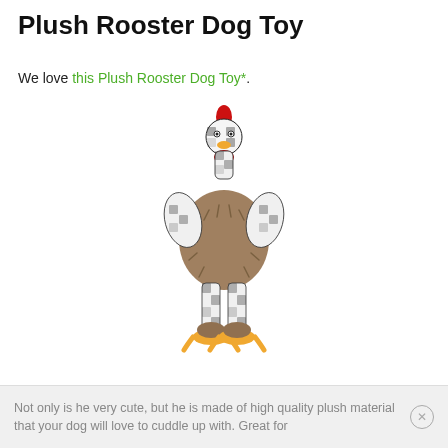Plush Rooster Dog Toy
We love this Plush Rooster Dog Toy*.
[Figure (photo): A plush rooster dog toy with checkered black-and-white patterned neck, wings, and legs; a fluffy brown/gray body; red comb and bow tie; orange beak, feet, and webbed toes.]
Not only is he very cute, but he is made of high quality plush material that your dog will love to cuddle up with. Great for